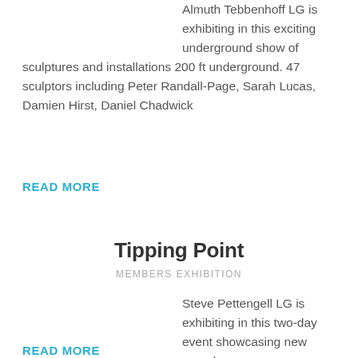Almuth Tebbenhoff LG is exhibiting in this exciting underground show of sculptures and installations 200 ft underground. 47 sculptors including Peter Randall-Page, Sarah Lucas, Damien Hirst, Daniel Chadwick
READ MORE
Tipping Point
MEMBERS EXHIBITION
Steve Pettengell LG is exhibiting in this two-day event showcasing new sound works which reflect our global health pandemic and environmental crisis.
READ MORE